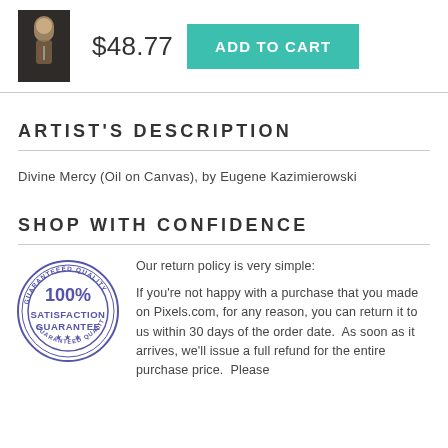[Figure (photo): Small product thumbnail image of a religious painting (Divine Mercy) shown as a tall narrow portrait]
$48.77
ADD TO CART
ARTIST'S DESCRIPTION
Divine Mercy (Oil on Canvas), by Eugene Kazimierowski
SHOP WITH CONFIDENCE
[Figure (illustration): 100% Satisfaction Guarantee circular stamp seal in blue/purple ink]
Our return policy is very simple:

If you're not happy with a purchase that you made on Pixels.com, for any reason, you can return it to us within 30 days of the order date.  As soon as it arrives, we'll issue a full refund for the entire purchase price.  Please